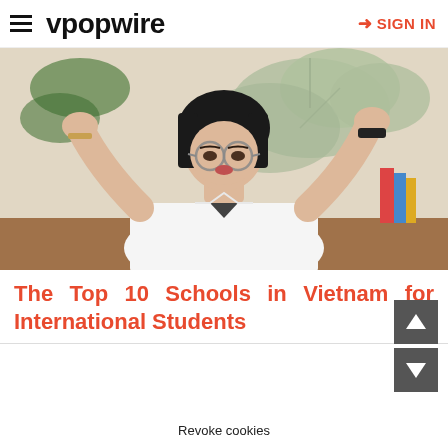vpopwire  SIGN IN
[Figure (photo): Young woman with short black hair and round glasses wearing a white shirt, arms raised, with tropical plant background]
The Top 10 Schools in Vietnam for International Students
Revoke cookies